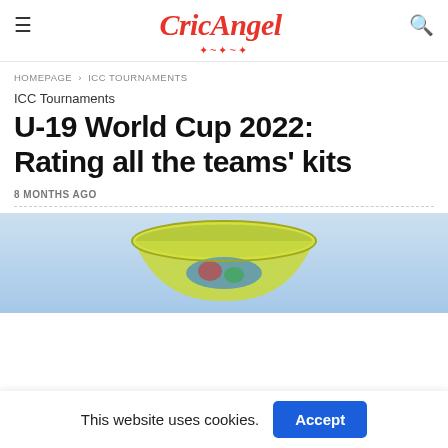CricAngel
HOMEPAGE › ICC TOURNAMENTS
ICC Tournaments
U-19 World Cup 2022: Rating all the teams' kits
8 MONTHS AGO
[Figure (photo): Partial view of a cricket trophy (bowl-shaped, gold/green) against a light blue sky background]
This website uses cookies. Accept